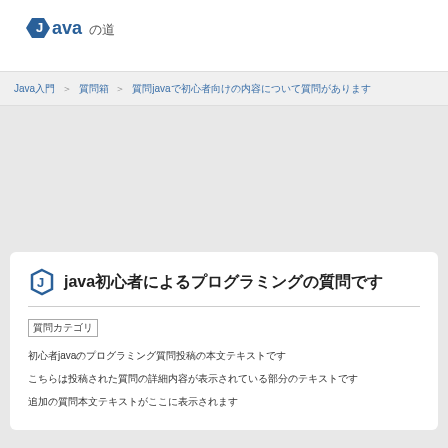[Figure (logo): Java no Michi logo with hexagon J icon and Japanese text]
Java入門 ＞ 質問箱 ＞ 質問java（文字化けしている質問タイトル）
java（文字化けしているタイトルテキスト）
質問カテゴリ
初心者javaの文字化けしている本文テキスト行1
文字化けしている本文テキスト行2
文字化けしている本文テキスト行3